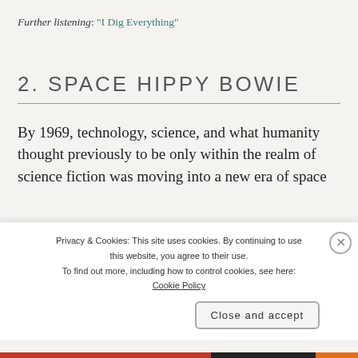Further listening: “I Dig Everything”
2. SPACE HIPPY BOWIE
By 1969, technology, science, and what humanity thought previously to be only within the realm of science fiction was moving into a new era of space
Privacy & Cookies: This site uses cookies. By continuing to use this website, you agree to their use. To find out more, including how to control cookies, see here: Cookie Policy
Close and accept